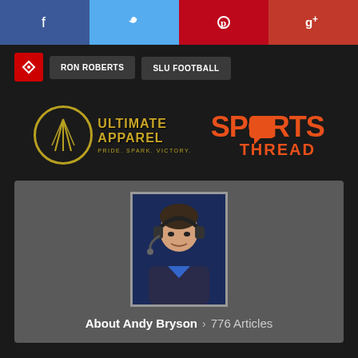[Figure (other): Social media share buttons row: Facebook (blue), Twitter (light blue), Pinterest (red), Google+ (dark red)]
RON ROBERTS
SLU FOOTBALL
[Figure (logo): Ultimate Apparel logo with gold circle emblem and text 'PRIDE. SPARK. VICTORY.' alongside Sports Thread logo in orange]
[Figure (photo): Photo of Andy Bryson, a man wearing headphones and a dark jacket]
About Andy Bryson > 776 Articles